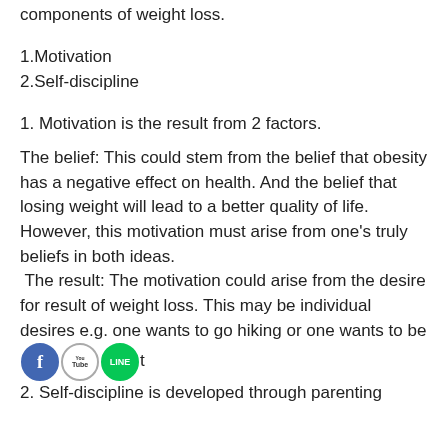components of weight loss.
1.Motivation
2.Self-discipline
1. Motivation is the result from 2 factors.
The belief: This could stem from the belief that obesity has a negative effect on health. And the belief that losing weight will lead to a better quality of life. However, this motivation must arise from one's truly beliefs in both ideas.
 The result: The motivation could arise from the desire for result of weight loss. This may be individual desires e.g. one wants to go hiking or one wants to be [social icons] t
2. Self-discipline is developed through parenting